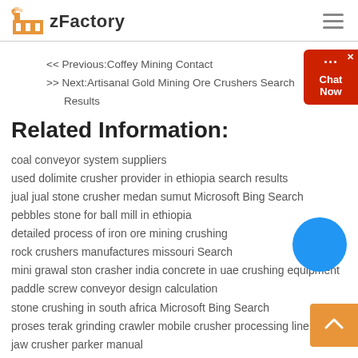zFactory
<< Previous:Coffey Mining Contact
>> Next:Artisanal Gold Mining Ore Crushers Search Results
Related Information:
coal conveyor system suppliers
used dolimite crusher provider in ethiopia search results
jual jual stone crusher medan sumut Microsoft Bing Search
pebbles stone for ball mill in ethiopia
detailed process of iron ore mining crushing
rock crushers manufactures missouri Search
mini grawal ston crasher india concrete in uae crushing equipment
paddle screw conveyor design calculation
stone crushing in south africa Microsoft Bing Search
proses terak grinding crawler mobile crusher processing line
jaw crusher parker manual